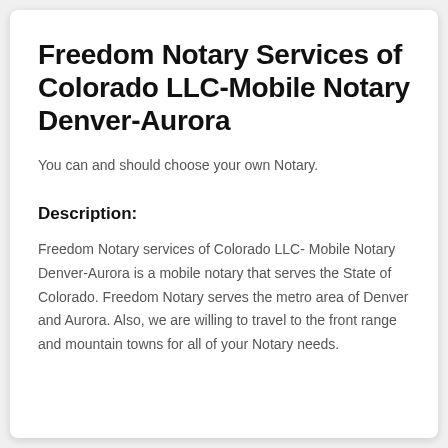Freedom Notary Services of Colorado LLC-Mobile Notary Denver-Aurora
You can and should choose your own Notary.
Description:
Freedom Notary services of Colorado LLC- Mobile Notary Denver-Aurora is a mobile notary that serves the State of Colorado. Freedom Notary serves the metro area of Denver and Aurora. Also, we are willing to travel to the front range and mountain towns for all of your Notary needs.